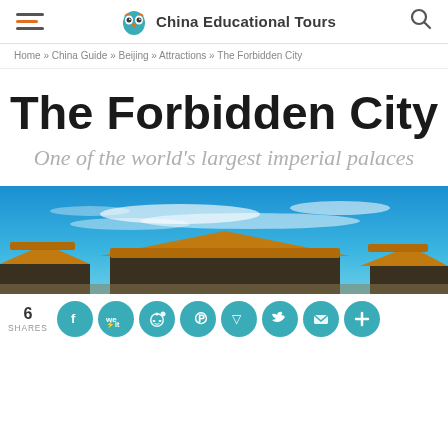China Educational Tours
Home » China Guide » Beijing » Attractions » The Forbidden City
The Forbidden City
One of the world's largest imperial palaces
[Figure (photo): Panoramic photo of the Forbidden City with traditional Chinese yellow-roofed buildings under a blue sky with wispy clouds]
6 SHARES